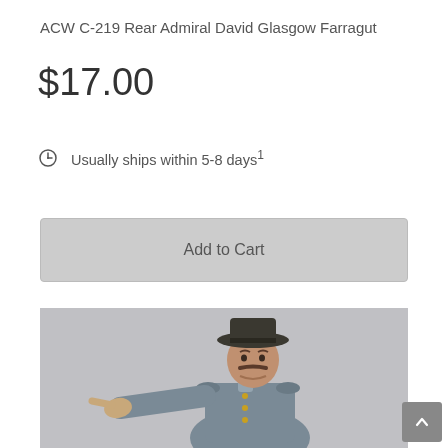ACW C-219 Rear Admiral David Glasgow Farragut
$17.00
Usually ships within 5-8 days¹
Add to Cart
[Figure (photo): Painted miniature figurine of Rear Admiral David Glasgow Farragut in gray Civil War uniform with dark hat, pointing with outstretched arm to the left, against a light gray background.]